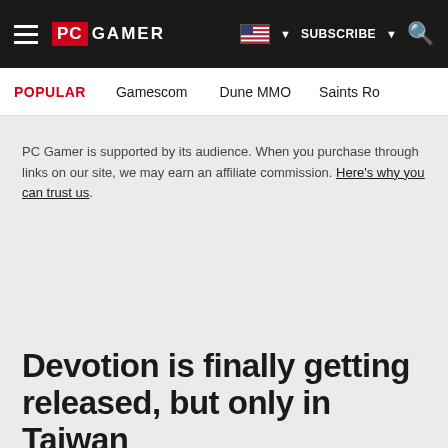PC GAMER — hamburger menu, flag/subscribe, search
POPULAR   Gamescom   Dune MMO   Saints Ro
PC Gamer is supported by its audience. When you purchase through links on our site, we may earn an affiliate commission. Here's why you can trust us.
Devotion is finally getting released, but only in Taiwan